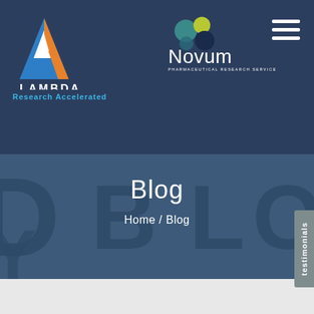[Figure (logo): Lambda Research Accelerated logo - blue triangle with orange accent triangle, white LAMBDA text, cyan Research Accelerated text]
[Figure (logo): Novum Pharmaceutical Research Services logo - cluster of colored circles (teal, yellow-green, dark blue), Novum wordmark in white]
[Figure (screenshot): Hero banner section with dark blue textured background showing large decorative letters B, L, O partially visible, overlaid with Blog page title and Home / Blog breadcrumb navigation]
Blog
Home / Blog